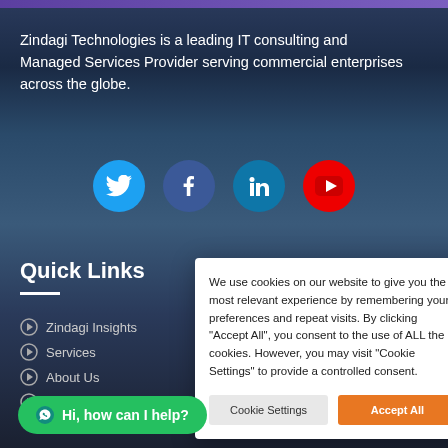Zindagi Technologies is a leading IT consulting and Managed Services Provider serving commercial enterprises across the globe.
[Figure (illustration): Social media icons: Twitter (blue circle), Facebook (dark blue circle), LinkedIn (light blue circle), YouTube (red circle)]
Quick Links
Zindagi Insights
Services
About Us
Contact Us
We use cookies on our website to give you the most relevant experience by remembering your preferences and repeat visits. By clicking "Accept All", you consent to the use of ALL the cookies. However, you may visit "Cookie Settings" to provide a controlled consent.
Cookie Settings | Accept All
Hi, how can I help?